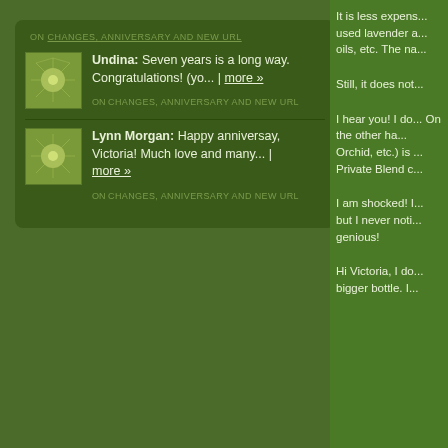ON CHANGES, ANNIVERSARY AND NEW URL
Undina: Seven years is a long way. Congratulations! (yo... more »
ON CHANGES, ANNIVERSARY AND NEW URL
Lynn Morgan: Happy anniversay, Victoria! Much love and many... more »
ON CHANGES, ANNIVERSARY AND NEW URL
It is less expens... used lavender a... oils, etc. The na...
Still, it does not...
I hear you! I do... On the other ha... Orchid, etc.) is ... Private Blend c...
I am shocked! I... but I never noti... genious!
Hi Victoria, I do... bigger bottle. I...